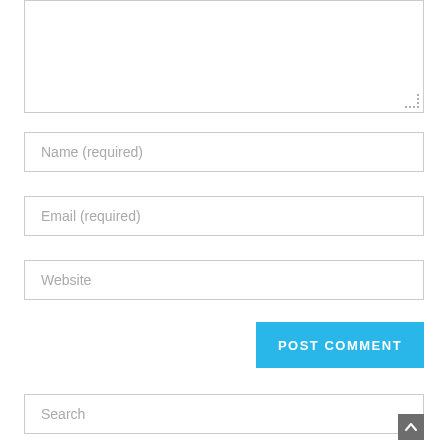[Figure (screenshot): A comment form textarea (partially visible at top), followed by Name (required), Email (required), and Website input fields, a POST COMMENT button in blue, and a Search input field at the bottom with a scroll-to-top button.]